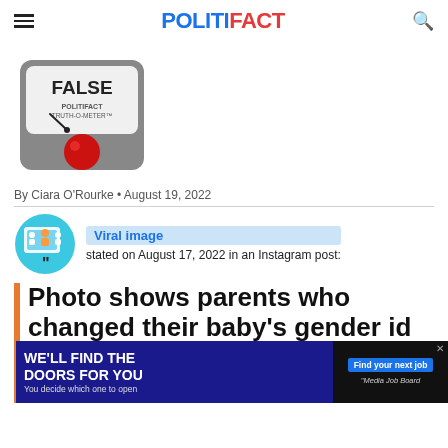POLITIFACT
[Figure (illustration): PolitiFact Truth-O-Meter gauge showing FALSE rating with red indicator light]
By Ciara O'Rourke • August 19, 2022
[Figure (illustration): Viral image source icon — circular illustration with people sharing images]
Viral image stated on August 17, 2022 in an Instagram post:
Photo shows parents who changed their baby's gender id…